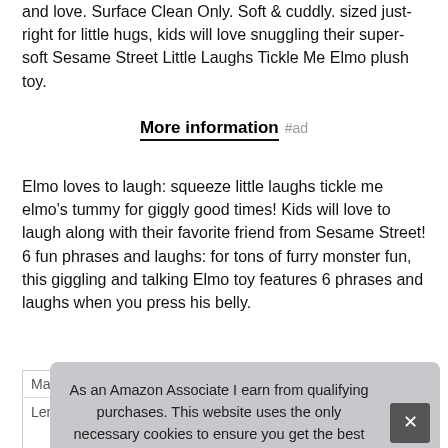and love. Surface Clean Only. Soft & cuddly. sized just-right for little hugs, kids will love snuggling their super-soft Sesame Street Little Laughs Tickle Me Elmo plush toy.
More information #ad
Elmo loves to laugh: squeeze little laughs tickle me elmo's tummy for giggly good times! Kids will love to laugh along with their favorite friend from Sesame Street! 6 fun phrases and laughs: for tons of furry monster fun, this giggling and talking Elmo toy features 6 phrases and laughs when you press his belly.
| Ma |  |
| Length | 4.75 Inches |
As an Amazon Associate I earn from qualifying purchases. This website uses the only necessary cookies to ensure you get the best experience on our website. More information